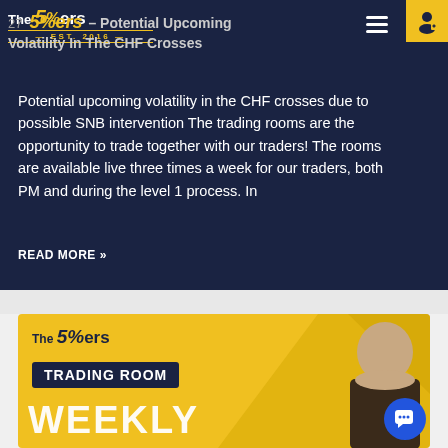The 5%ers EST. 2016
27 5%ers – Potential Upcoming Volatility In The CHF Crosses
Potential upcoming volatility in the CHF crosses due to possible SNB intervention The trading rooms are the opportunity to trade together with our traders! The rooms are available live three times a week for our traders, both PM and during the level 1 process. In
READ MORE »
[Figure (screenshot): The 5%ers Trading Room Weekly banner with yellow background, logo, Trading Room label, diagonal gold stripes, and person photo]